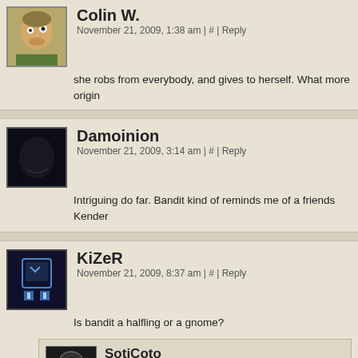Colin W. — November 21, 2009, 1:38 am | # | Reply — she robs from everybody, and gives to herself. What more origin
Damoinion — November 21, 2009, 3:14 am | # | Reply — Intriguing do far. Bandit kind of reminds me of a friends Kender
KiZeR — November 21, 2009, 8:37 am | # | Reply — Is bandit a halfling or a gnome?
SotiCoto — June 20, 2013, 10:08 am | Reply — Who says she can't be half-halfling, half-gnome? It often puzzled me that vanilla D&D only account— I did wonder whether it meant that any other com— other combinations for whatever reason never ha— SO... assume for a moment that an Orc gets it on w— and then the Orc/Dwarf gets it on with the Elf/Gno— with a Half-ThreeQuartersling-Tiefling with Dow